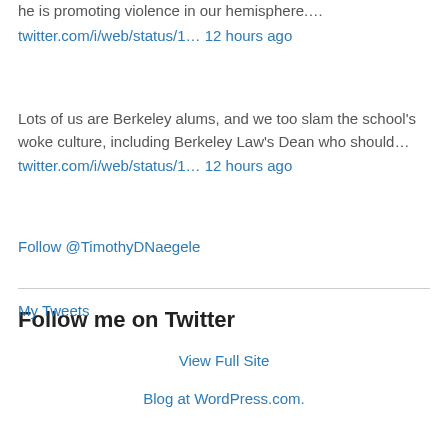he is promoting violence in our hemisphere….
twitter.com/i/web/status/1… 12 hours ago
Lots of us are Berkeley alums, and we too slam the school's woke culture, including Berkeley Law's Dean who should…
twitter.com/i/web/status/1… 12 hours ago
Follow @TimothyDNaegele
Follow me on Twitter
My Tweets
View Full Site
Blog at WordPress.com.